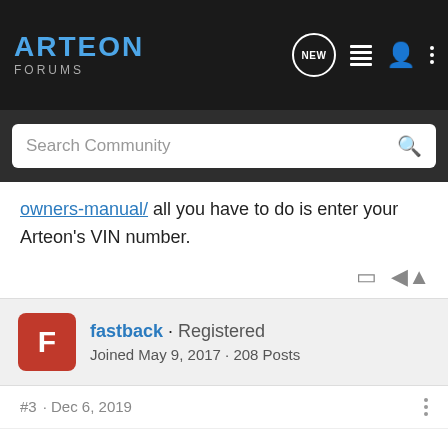[Figure (screenshot): Arteon Forums navigation bar with logo, NEW icon, list icon, user icon, and three-dot menu icon]
[Figure (screenshot): Search Community search bar on dark background]
owners-manual/ all you have to do is enter your Arteon's VIN number.
fastback · Registered
Joined May 9, 2017 · 208 Posts
#3 · Dec 6, 2019
Has anyone found an Arteon service manual as yet? I know service manuals (in general) are hard to find but do surface from time to time.